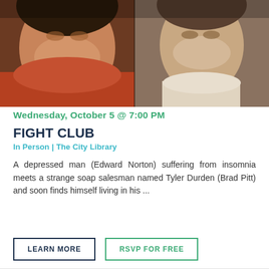[Figure (photo): Movie poster showing two men side by side: left side shows a smiling man (Brad Pitt) in warm tones, right side shows a serious-looking man (Edward Norton) against a textured background]
Wednesday, October 5 @ 7:00 PM
FIGHT CLUB
In Person | The City Library
A depressed man (Edward Norton) suffering from insomnia meets a strange soap salesman named Tyler Durden (Brad Pitt) and soon finds himself living in his ...
LEARN MORE
RSVP FOR FREE